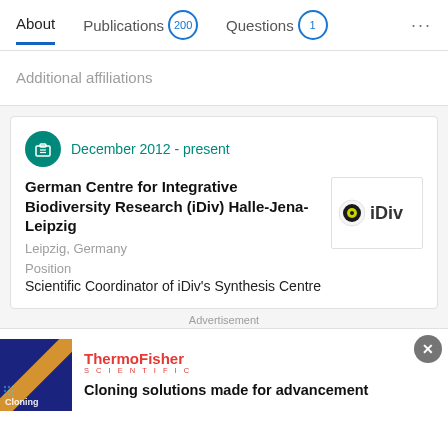About  Publications 200  Questions 1  ...
Additional affiliations
December 2012 - present
German Centre for Integrative Biodiversity Research (iDiv) Halle-Jena-Leipzig
Leipzig, Germany
Position
Scientific Coordinator of iDiv's Synthesis Centre
[Figure (logo): iDiv logo: circle with yellow-green dot on dark background with text 'iDiv']
Advertisement
[Figure (photo): Dark blue background with yellow diagonal line and 'Cloning' text overlay]
ThermoFisher SCIENTIFIC
Cloning solutions made for advancement